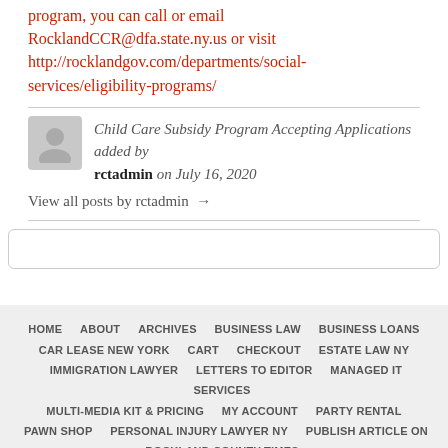program, you can call or email RocklandCCR@dfa.state.ny.us or visit http://rocklandgov.com/departments/social-services/eligibility-programs/
Child Care Subsidy Program Accepting Applications added by rctadmin on July 16, 2020
View all posts by rctadmin →
HOME  ABOUT  ARCHIVES  BUSINESS LAW  BUSINESS LOANS  CAR LEASE NEW YORK  CART  CHECKOUT  ESTATE LAW NY  IMMIGRATION LAWYER  LETTERS TO EDITOR  MANAGED IT SERVICES  MULTI-MEDIA KIT & PRICING  MY ACCOUNT  PARTY RENTAL  PAWN SHOP  PERSONAL INJURY LAWYER NY  PUBLISH ARTICLE ON ROCKLAND COUNTY TIMES  SHOP  SITE MAP  SPONSORED CONTENT  SUBSCRIBE ONLINE  TAX PREPARATION  THANK YOU  THANK YOU FOR DONATING  THANK YOU FOR ORDERING BORN MINUS  THANK YOU!!!  WHERE TO BUY CONTACT  BORN MINUS BOOK  BLOG